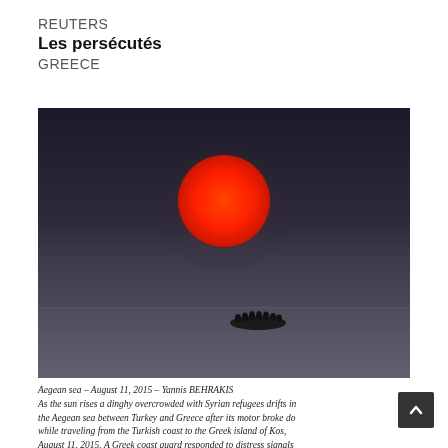REUTERS
Les persécutés
GREECE
[Figure (photo): A dramatic photograph of a red sun rising over a dark gray sea. A small overcrowded dinghy with Syrian refugees is barely visible as a dark silhouette on the water in the lower middle of the frame. The sky is dark gray-blue and the sun is a vivid red-orange circle dominating the upper center of the image.]
Aegean sea – August 11, 2015 – Yannis BEHRAKIS
As the sun rises a dinghy overcrowded with Syrian refugees drifts in the Aegean sea between Turkey and Greece after its motor broke down while traveling from the Turkish coast to the Greek island of Kos, August 11, 2015. A Greek coast guard responded to distress signals